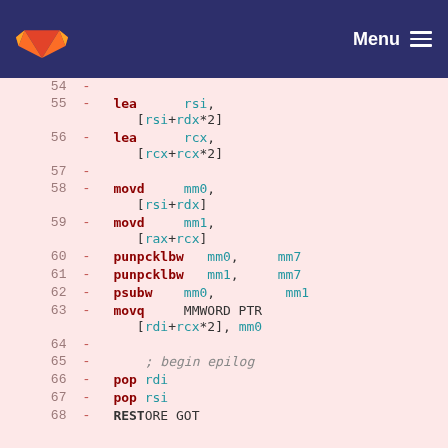[Figure (screenshot): GitLab navigation header with orange fox logo and Menu button on dark blue background]
Assembly code diff showing lines 54-68 with instructions: lea, movd, punpcklbw, psubw, movq, pop, RESTORE GOT